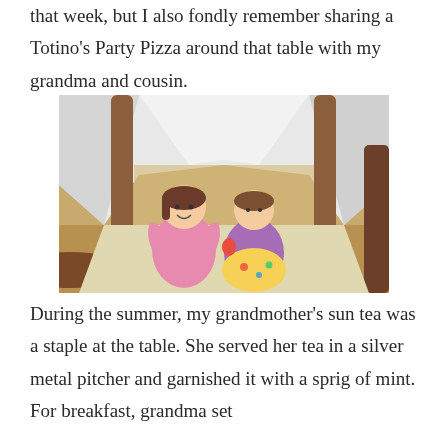that week, but I also fondly remember sharing a Totino's Party Pizza around that table with my grandma and cousin.
[Figure (photo): Two young girls sitting beneath a table covered with a white sheet, forming a makeshift fort. The girls are smiling at the camera. Wooden table legs and chairs are visible around them.]
During the summer, my grandmother's sun tea was a staple at the table. She served her tea in a silver metal pitcher and garnished it with a sprig of mint. For breakfast, grandma set